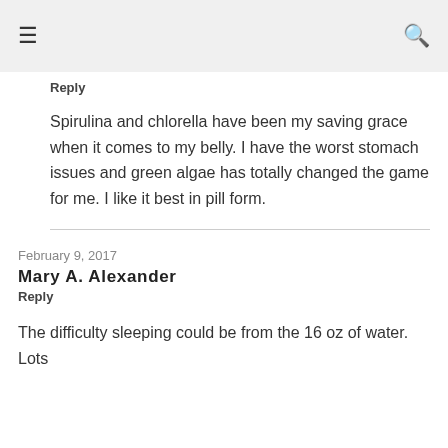≡  🔍
Reply
Spirulina and chlorella have been my saving grace when it comes to my belly. I have the worst stomach issues and green algae has totally changed the game for me. I like it best in pill form.
February 9, 2017
Mary A. Alexander
Reply
The difficulty sleeping could be from the 16 oz of water. Lots